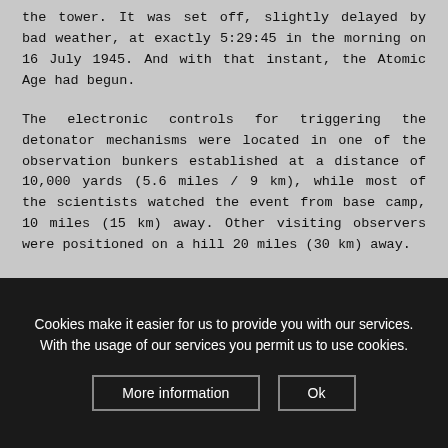the tower. It was set off, slightly delayed by bad weather, at exactly 5:29:45 in the morning on 16 July 1945. And with that instant, the Atomic Age had begun.
The electronic controls for triggering the detonator mechanisms were located in one of the observation bunkers established at a distance of 10,000 yards (5.6 miles / 9 km), while most of the scientists watched the event from base camp, 10 miles (15 km) away. Other visiting observers were positioned on a hill 20 miles (30 km) away.
Even at that distance the heat from the blast was felt … like opening the door of a hot oven, it was described. But most eyewitness reports expressed their awe at the brightness of the
Cookies make it easier for us to provide you with our services. With the usage of our services you permit us to use cookies.